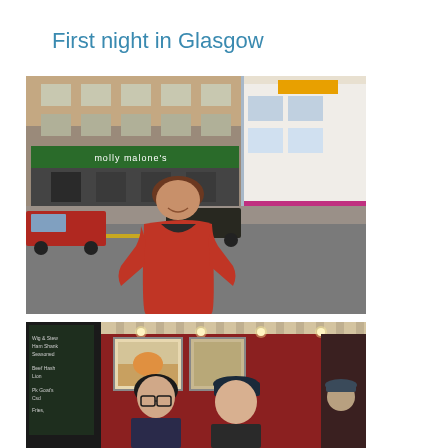First night in Glasgow
[Figure (photo): A woman in a red top standing on a Glasgow street in front of Molly Malone's pub, with a bus visible on the right and a red car on the left]
[Figure (photo): Two people (a woman with glasses and a man in a dark cap) posing together inside a bar/restaurant with red walls, chalkboard menu, and wall artwork visible]